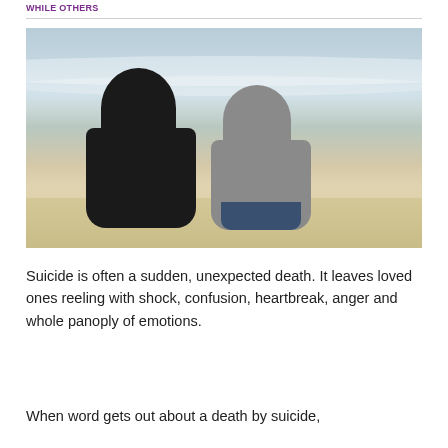WHILE OTHERS
[Figure (photo): Two people wearing hooded sweatshirts sitting side by side on a beach, viewed from behind, with ocean waves in the background.]
Suicide is often a sudden, unexpected death. It leaves loved ones reeling with shock, confusion, heartbreak, anger and whole panoply of emotions.
When word gets out about a death by suicide,